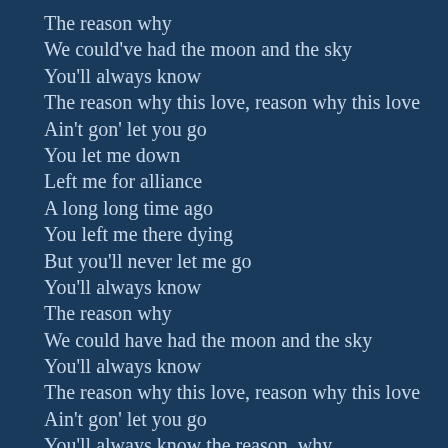The reason why
We could've had the moon and the sky
You'll always know
The reason why this love, reason why this love
Ain't gon' let you go
You let me down
Left me for alliance
A long long time ago
You left me there dying
But you'll never let me go
You'll always know
The reason why
We could have had the moon and the sky
You'll always know
The reason why this love, reason why this love
Ain't gon' let you go
You'll always know the reason, why
The song you heard, will stay on your mind